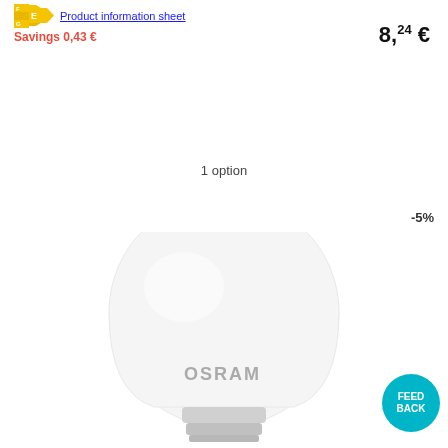Product information sheet
Savings 0,43 €
8,24 €
1 option
-5%
[Figure (photo): OSRAM LED light bulb on white background]
FEED BACK